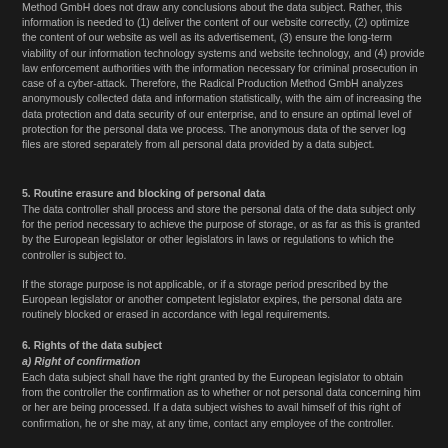Method GmbH does not draw any conclusions about the data subject. Rather, this information is needed to (1) deliver the content of our website correctly, (2) optimize the content of our website as well as its advertisement, (3) ensure the long-term viability of our information technology systems and website technology, and (4) provide law enforcement authorities with the information necessary for criminal prosecution in case of a cyber-attack. Therefore, the Radical Production Method GmbH analyzes anonymously collected data and information statistically, with the aim of increasing the data protection and data security of our enterprise, and to ensure an optimal level of protection for the personal data we process. The anonymous data of the server log files are stored separately from all personal data provided by a data subject.
5. Routine erasure and blocking of personal data
The data controller shall process and store the personal data of the data subject only for the period necessary to achieve the purpose of storage, or as far as this is granted by the European legislator or other legislators in laws or regulations to which the controller is subject to.
If the storage purpose is not applicable, or if a storage period prescribed by the European legislator or another competent legislator expires, the personal data are routinely blocked or erased in accordance with legal requirements.
6. Rights of the data subject
a) Right of confirmation
Each data subject shall have the right granted by the European legislator to obtain from the controller the confirmation as to whether or not personal data concerning him or her are being processed. If a data subject wishes to avail himself of this right of confirmation, he or she may, at any time, contact any employee of the controller.